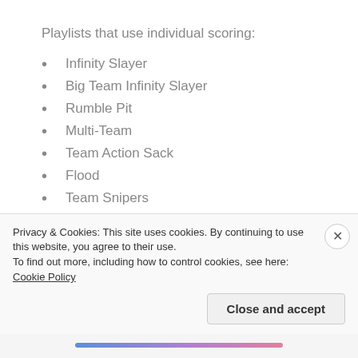Playlists that use individual scoring:
Infinity Slayer
Big Team Infinity Slayer
Rumble Pit
Multi-Team
Team Action Sack
Flood
Team Snipers
Regicide
SWAT
Privacy & Cookies: This site uses cookies. By continuing to use this website, you agree to their use.
To find out more, including how to control cookies, see here: Cookie Policy
Close and accept